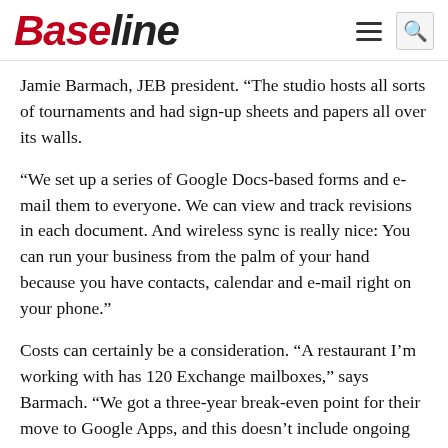Baseline
Jamie Barmach, JEB president. “The studio hosts all sorts of tournaments and had sign-up sheets and papers all over its walls.
“We set up a series of Google Docs-based forms and e-mail them to everyone. We can view and track revisions in each document. And wireless sync is really nice: You can run your business from the palm of your hand because you have contacts, calendar and e-mail right on your phone.”
Costs can certainly be a consideration. “A restaurant I’m working with has 120 Exchange mailboxes,” says Barmach. “We got a three-year break-even point for their move to Google Apps, and this doesn’t include ongoing Exchange server and software maintenance and upgrades, too.”
Emergent’s Cavanaugh-Simmons is saving both money and some support staff head count with its cloud-based applications. “I got infected with a virus, but I lost nothing because it took me only minutes to restore my files,” she says. “If we still had everything on our own servers, I would have had to pay IT to come in. So we’re saving money all over the place with